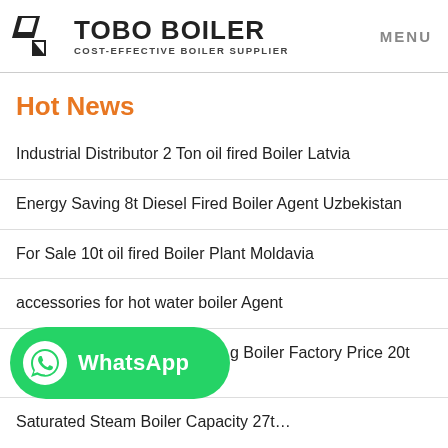TOBO BOILER COST-EFFECTIVE BOILER SUPPLIER | MENU
Hot News
Industrial Distributor 2 Ton oil fired Boiler Latvia
Energy Saving 8t Diesel Fired Boiler Agent Uzbekistan
For Sale 10t oil fired Boiler Plant Moldavia
accessories for hot water boiler Agent
…g Boiler Factory Price 20t Kazakhstan
Saturated Steam Boiler Capacity 27t…